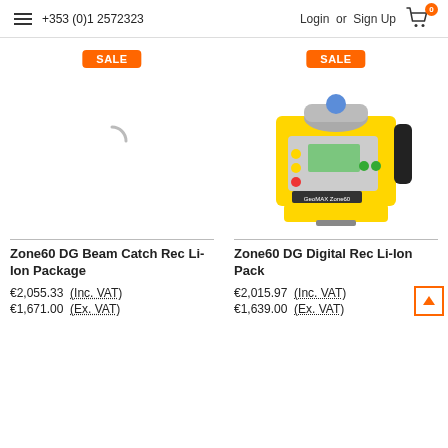+353 (0)1 2572323  Login or Sign Up
[Figure (photo): Loading spinner (product image loading) for Zone60 DG Beam Catch Rec Li-Ion Package]
[Figure (photo): Zone60 DG Digital Rec Li-Ion Pack - yellow rotary laser level device on white background]
Zone60 DG Beam Catch Rec Li-Ion Package
€2,055.33 (Inc. VAT)
€1,671.00 (Ex. VAT)
Zone60 DG Digital Rec Li-Ion Pack
€2,015.97 (Inc. VAT)
€1,639.00 (Ex. VAT)